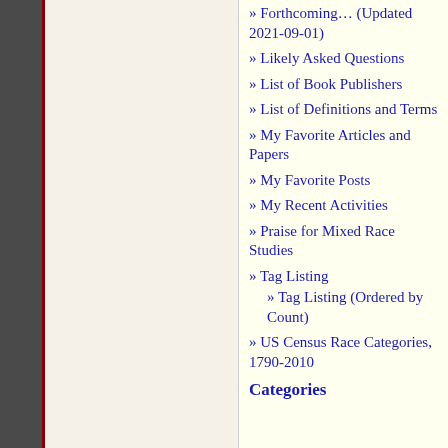» Forthcoming… (Updated 2021-09-01)
» Likely Asked Questions
» List of Book Publishers
» List of Definitions and Terms
» My Favorite Articles and Papers
» My Favorite Posts
» My Recent Activities
» Praise for Mixed Race Studies
» Tag Listing
» Tag Listing (Ordered by Count)
» US Census Race Categories, 1790-2010
Categories